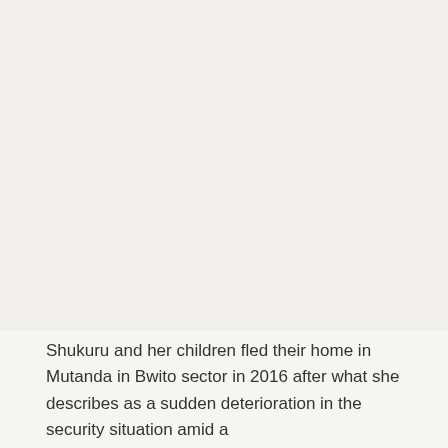[Figure (photo): Large photograph taking up most of the upper portion of the page. The image area appears as a light gray/off-white background, likely a photo of a person or scene related to the text caption below.]
Shukuru and her children fled their home in Mutanda in Bwito sector in 2016 after what she describes as a sudden deterioration in the security situation amid a